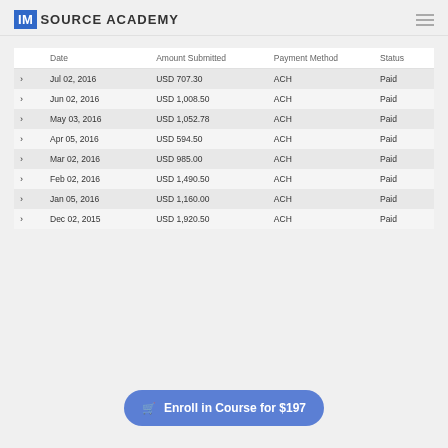IM SOURCE ACADEMY
|  | Date | Amount Submitted | Payment Method | Status |
| --- | --- | --- | --- | --- |
| > | Jul 02, 2016 | USD 707.30 | ACH | Paid |
| > | Jun 02, 2016 | USD 1,008.50 | ACH | Paid |
| > | May 03, 2016 | USD 1,052.78 | ACH | Paid |
| > | Apr 05, 2016 | USD 594.50 | ACH | Paid |
| > | Mar 02, 2016 | USD 985.00 | ACH | Paid |
| > | Feb 02, 2016 | USD 1,490.50 | ACH | Paid |
| > | Jan 05, 2016 | USD 1,160.00 | ACH | Paid |
| > | Dec 02, 2015 | USD 1,920.50 | ACH | Paid |
Enroll in Course for $197